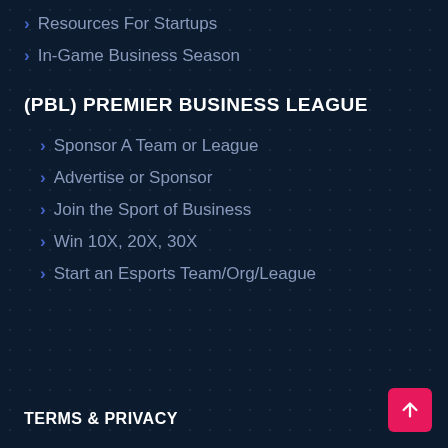> Resources For Startups
> In-Game Business Season
(PBL) PREMIER BUSINESS LEAGUE
> Sponsor A Team or League
> Advertise or Sponsor
> Join the Sport of Business
> Win 10X, 20X, 30X
> Start an Esports Team/Org/League
TERMS & PRIVACY